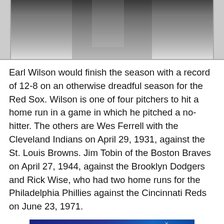[Figure (photo): Black and white photo of Earl Wilson, partially visible at top of page]
Earl Wilson would finish the season with a record of 12-8 on an otherwise dreadful season for the Red Sox. Wilson is one of four pitchers to hit a home run in a game in which he pitched a no-hitter. The others are Wes Ferrell with the Cleveland Indians on April 29, 1931, against the St. Louis Browns. Jim Tobin of the Boston Braves on April 27, 1944, against the Brooklyn Dodgers and Rick Wise, who had two home runs for the Philadelphia Phillies against the Cincinnati Reds on June 23, 1971.
[Figure (advertisement): THE WATER COOLEST advertisement banner with JOIN NOW call to action]